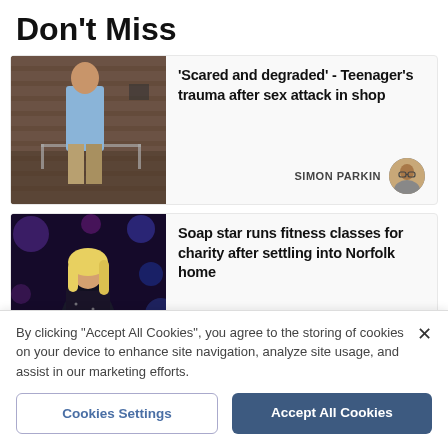Don't Miss
[Figure (photo): Man in light blue shirt standing near brick wall and railing, outdoors]
'Scared and degraded' - Teenager's trauma after sex attack in shop
SIMON PARKIN
[Figure (photo): Blonde woman at what appears to be a premiere event with purple/blue lighting]
Soap star runs fitness classes for charity after settling into Norfolk home
By clicking "Accept All Cookies", you agree to the storing of cookies on your device to enhance site navigation, analyze site usage, and assist in our marketing efforts.
Cookies Settings
Accept All Cookies